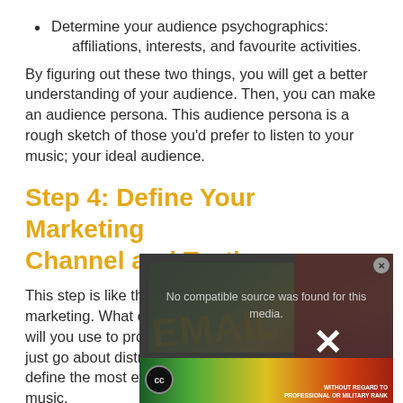Determine your audience psychographics: affiliations, interests, and favourite activities.
By figuring out these two things, you will get a better understanding of your audience. Then, you can make an audience persona. This audience persona is a rough sketch of those you'd prefer to listen to your music; your ideal audience.
Step 4: Define Your Marketing Channel and Tactics
This step is like the actual action plan for your music marketing. What channel, mediums, and platforms will you use to promote your music? Since you can't just go about distributing handbills, you have to define the most effective medium to market your music.
[Figure (screenshot): A video overlay box with 'No compatible source was found for this media.' message, watermark text 'EMAIL', a large X close button, and a colorful bottom strip with a person thumbnail.]